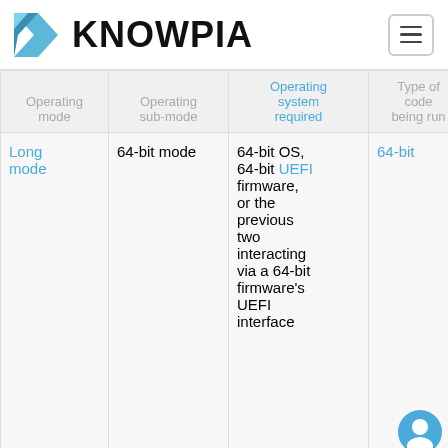KNOWPIA
| Operating mode | Operating sub-mode | Operating system required | Type of code being run | address |
| --- | --- | --- | --- | --- |
| Long mode | 64-bit mode | 64-bit OS, 64-bit UEFI firmware, or the previous two interacting via a 64-bit firmware's UEFI interface | 64-bit | 64 |